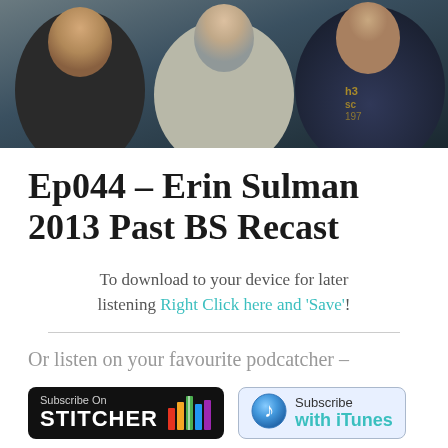[Figure (photo): Three people posing together in a close group photo, photographed from upper body up]
Ep044 – Erin Sulman 2013 Past BS Recast
To download to your device for later listening Right Click here and 'Save'!
Or listen on your favourite podcatcher –
[Figure (logo): Subscribe On STITCHER badge with colorful bars icon]
[Figure (logo): Subscribe with iTunes badge with music note icon]